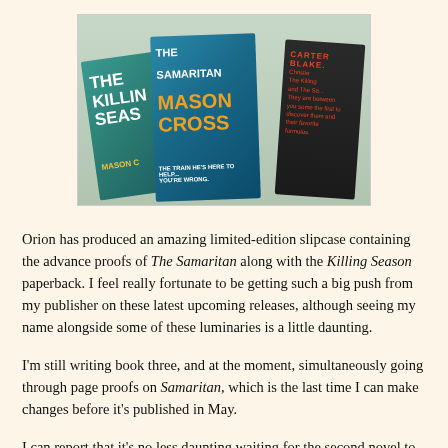[Figure (photo): Photo of three books in a slipcase: 'The Killing Season' and 'The Samaritan' by Mason Cross, plus a black Carter Blake slipcase box, arranged on a carpet.]
Orion has produced an amazing limited-edition slipcase containing the advance proofs of The Samaritan along with the Killing Season paperback. I feel really fortunate to be getting such a big push from my publisher on these latest upcoming releases, although seeing my name alongside some of these luminaries is a little daunting.
I'm still writing book three, and at the moment, simultaneously going through page proofs on Samaritan, which is the last time I can make changes before it's published in May.
I can report that it's no less daunting waiting for the second novel to come out.